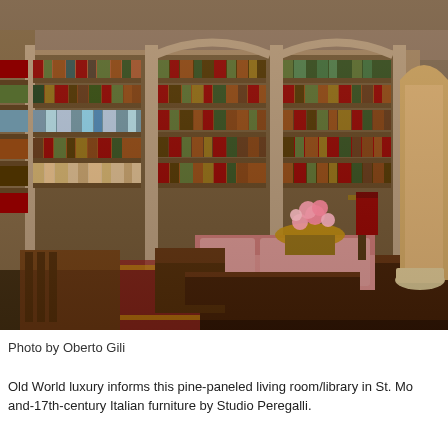[Figure (photo): An opulent Old World library/living room with floor-to-ceiling wooden bookshelves filled with antique leather-bound books, stone or plaster pilasters framing the shelves, a floral sofa, antique wooden chairs with nail-head trim, a large dark wooden desk in the foreground stacked with books, a Persian rug on the floor, pink flowers in a brass pot, and a warm ambient light. An arched doorway is visible on the right side.]
Photo by Oberto Gili
Old World luxury informs this pine-paneled living room/library in St. Mo and-17th-century Italian furniture by Studio Peregalli.